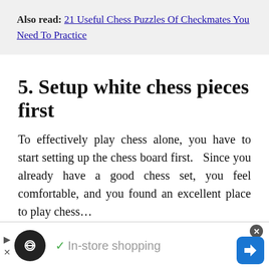Also read: 21 Useful Chess Puzzles Of Checkmates You Need To Practice
5. Setup white chess pieces first
To effectively play chess alone, you have to start setting up the chess board first.   Since you already have a good chess set, you feel comfortable, and you found an excellent place to play chess…
Then set up the chess board with white chess pieces
[Figure (other): Advertisement bar with in-store shopping label and navigation button]